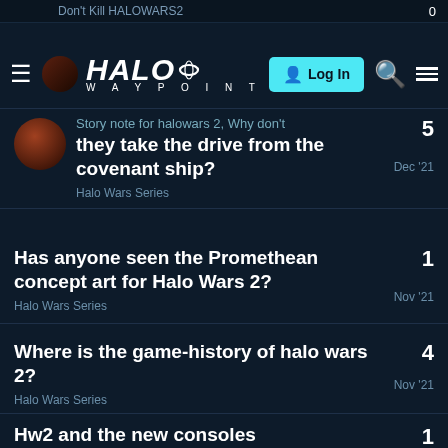Halo Waypoint — Log In
Story note for halowars 2, Why don't they take the drive from the covenant ship? — Halo Wars Series — Dec '21 — 5 replies
Has anyone seen the Promethean concept art for Halo Wars 2? — Halo Wars Series — Nov '21 — 1 reply
Where is the game-history of halo wars 2? — Halo Wars Series — Nov '21 — 4 replies
Hw2 and the new consoles — Halo Wars Series — Sep '21 — 1 reply
Want to read more? Browse other topics in Halo Wars Series or view latest topics.